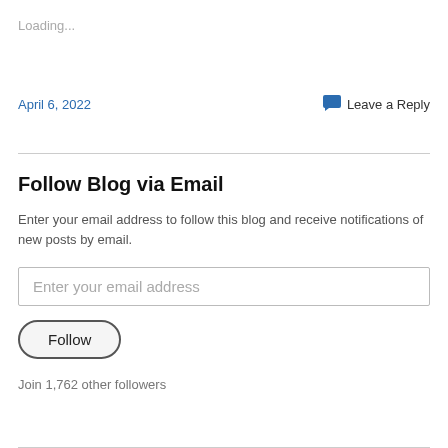Loading...
April 6, 2022
Leave a Reply
Follow Blog via Email
Enter your email address to follow this blog and receive notifications of new posts by email.
Enter your email address
Follow
Join 1,762 other followers